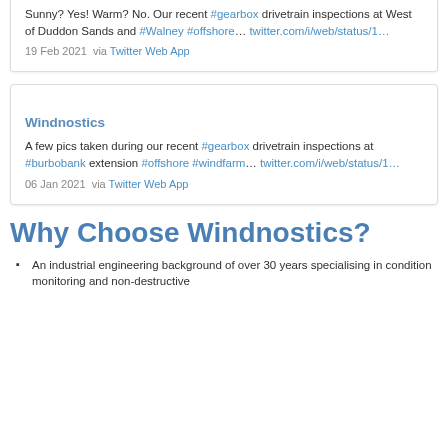Sunny? Yes! Warm? No. Our recent #gearbox drivetrain inspections at West of Duddon Sands and #Walney #offshore… twitter.com/i/web/status/1…
19 Feb 2021  via Twitter Web App
Windnostics
A few pics taken during our recent #gearbox drivetrain inspections at #burbobank extension #offshore #windfarm… twitter.com/i/web/status/1…
06 Jan 2021  via Twitter Web App
Why Choose Windnostics?
An industrial engineering background of over 30 years specialising in condition monitoring and non-destructive